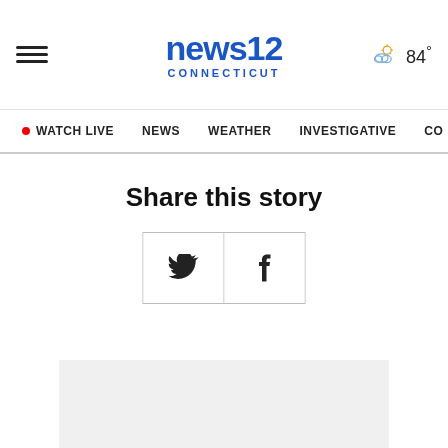news12 CONNECTICUT | WATCH LIVE | NEWS | WEATHER | INVESTIGATIVE | CO | 84°
Share this story
[Figure (other): Social share buttons: Twitter (bird icon) and Facebook (f icon) in a bordered box]
[Figure (other): Gray advertisement placeholder box at the bottom of the page]